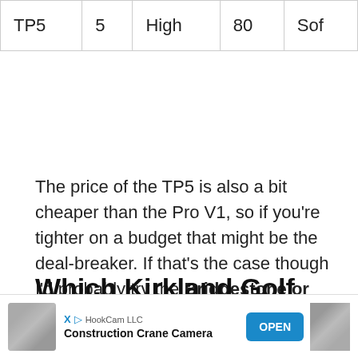| TP5 | 5 | High | 80 | Sof |
The price of the TP5 is also a bit cheaper than the Pro V1, so if you're tighter on a budget that might be the deal-breaker. If that's the case though I'd probably try the Bridgestone or Srixon.
Which Kirkland Golf Balls Are Like Pro V1?